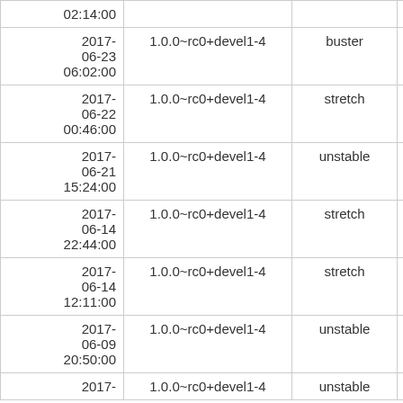| Date | Version | Distribution | Arch |
| --- | --- | --- | --- |
| 02:14:00 | 1.0.0~rc0+devel1-4 | buster |  |
| 2017-06-23 06:02:00 | 1.0.0~rc0+devel1-4 | buster |  |
| 2017-06-22 00:46:00 | 1.0.0~rc0+devel1-4 | stretch |  |
| 2017-06-21 15:24:00 | 1.0.0~rc0+devel1-4 | unstable | am |
| 2017-06-14 22:44:00 | 1.0.0~rc0+devel1-4 | stretch | am |
| 2017-06-14 12:11:00 | 1.0.0~rc0+devel1-4 | stretch | am |
| 2017-06-09 20:50:00 | 1.0.0~rc0+devel1-4 | unstable | am |
| 2017- | 1.0.0~rc0+devel1-4 | unstable |  |